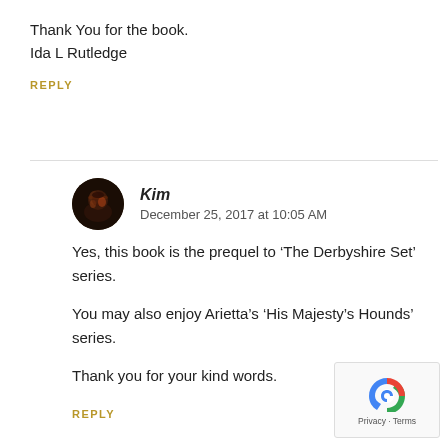Thank You for the book.
Ida L Rutledge
REPLY
Kim
December 25, 2017 at 10:05 AM
Yes, this book is the prequel to ‘The Derbyshire Set’ series.

You may also enjoy Arietta’s ‘His Majesty’s Hounds’ series.

Thank you for your kind words.
REPLY